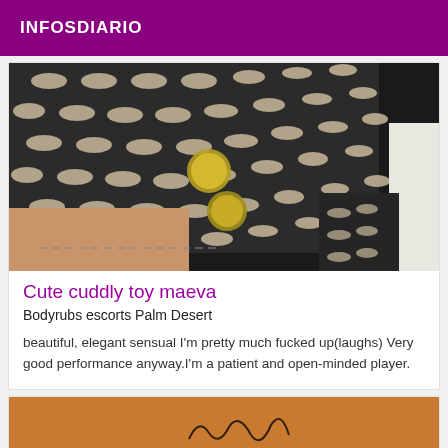INFOSDIARIO
[Figure (photo): Close-up photo of a person wearing a black fishnet/mesh outfit, showing the midsection area.]
Cute cuddly toy maeva
Bodyrubs escorts Palm Desert
beautiful, elegant sensual I'm pretty much fucked up(laughs) Very good performance anyway.I'm a patient and open-minded player.
[Figure (photo): Partial photo showing a wooden surface with some dark markings or signature.]